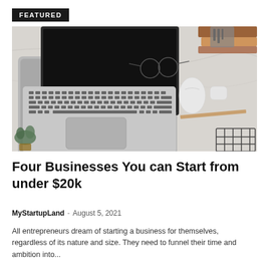FEATURED
[Figure (photo): Overhead view of a workspace with an open laptop, wireless mouse, glasses, earbuds, pencil, succulent plant, books, and a wire basket on a light marble surface.]
Four Businesses You can Start from under $20k
MyStartupLand  -  August 5, 2021
All entrepreneurs dream of starting a business for themselves, regardless of its nature and size. They need to funnel their time and ambition into...